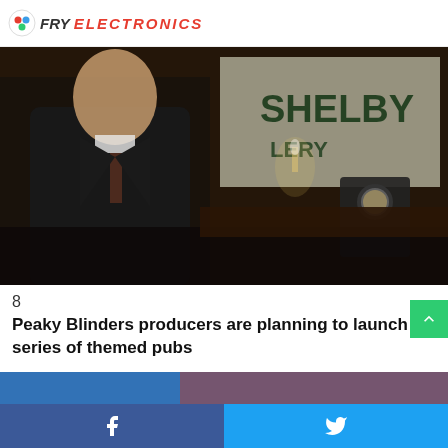FRY ELECTRONICS
[Figure (photo): A man in a dark suit and overcoat standing in front of a sign reading 'SHELBY' with a clock on a desk in a dark, period interior setting (Peaky Blinders scene).]
8
Peaky Blinders producers are planning to launch a series of themed pubs
[Figure (photo): Partial thumbnail image at the bottom, partially visible, appears to be a colorful image.]
Facebook share | Twitter share